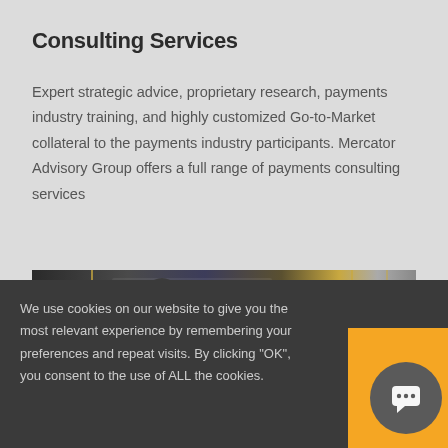Consulting Services
Expert strategic advice, proprietary research, payments industry training, and highly customized Go-to-Market collateral to the payments industry participants. Mercator Advisory Group offers a full range of payments consulting services
[Figure (photo): A person viewed from behind wearing glasses, sitting in front of a computer screen, with a large transparent board showing diagrams and writing, and pendant lights in a dark office setting.]
We use cookies on our website to give you the most relevant experience by remembering your preferences and repeat visits. By clicking "OK", you consent to the use of ALL the cookies.